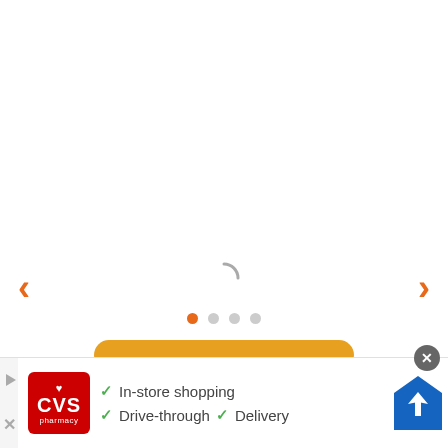[Figure (screenshot): Web page carousel with navigation arrows (left orange < and right orange >), a loading spinner in the center, four pagination dots (first dot active/orange, rest gray), and a partially visible yellow/orange rounded button at the bottom]
[Figure (screenshot): CVS Pharmacy advertisement banner showing CVS logo in red, with green checkmarks next to 'In-store shopping', 'Drive-through', 'Delivery', a close button, a play/skip icon, and a blue map/navigation icon]